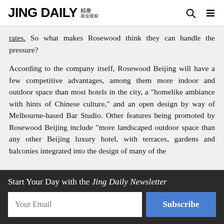JING DAILY 精奢
rates. So what makes Rosewood think they can handle the pressure?
According to the company itself, Rosewood Beijing will have a few competitive advantages, among them more indoor and outdoor space than most hotels in the city, a "homelike ambiance with hints of Chinese culture," and an open design by way of Melbourne-based Bar Studio. Other features being promoted by Rosewood Beijing include "more landscaped outdoor space than any other Beijing luxury hotel, with terraces, gardens and balconies integrated into the design of many of the
Start Your Day with the Jing Daily Newsletter